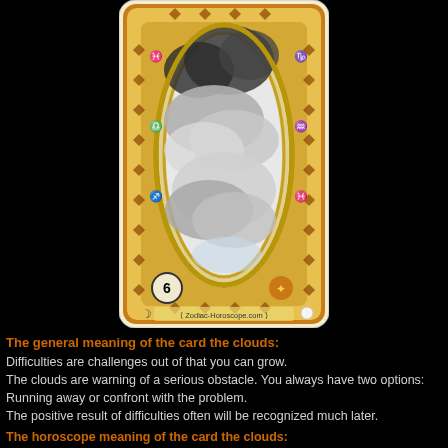[Figure (illustration): A tarot/oracle card numbered 6 depicting stormy clouds inside an oval frame with a decorative diamond-pattern brown border. The card has zodiac symbols and is watermarked 'Zodiac-Horoscope.com'.]
The general meaning of the card the clouds:
Difficulties are challenges out of that you can grow.
The clouds are warning of a serious obstacle. You always have two options: Running away or confront with the problem.
The positive result of difficulties often will be recognized much later.
The horoscope meaning of the card the clouds: